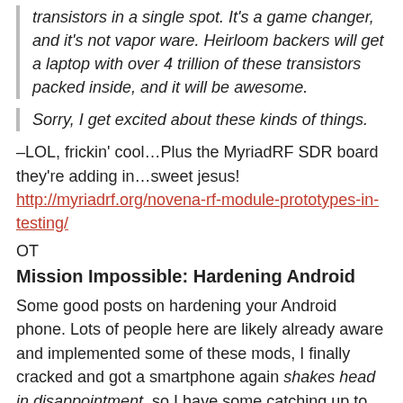transistors in a single spot. It's a game changer, and it's not vapor ware. Heirloom backers will get a laptop with over 4 trillion of these transistors packed inside, and it will be awesome.
Sorry, I get excited about these kinds of things.
–LOL, frickin' cool…Plus the MyriadRF SDR board they're adding in…sweet jesus! http://myriadrf.org/novena-rf-module-prototypes-in-testing/
OT
Mission Impossible: Hardening Android
Some good posts on hardening your Android phone. Lots of people here are likely already aware and implemented some of these mods, I finally cracked and got a smartphone again shakes head in disappointment, so I have some catching up to do. I can finally hear people on the phone again b/c my phone was so sh*tty lol, and no more getting lost b/c I'm so bad w/ directions! Sorry Apple-people, maybe if Apple used some of its $billions to make a tiny open source project for